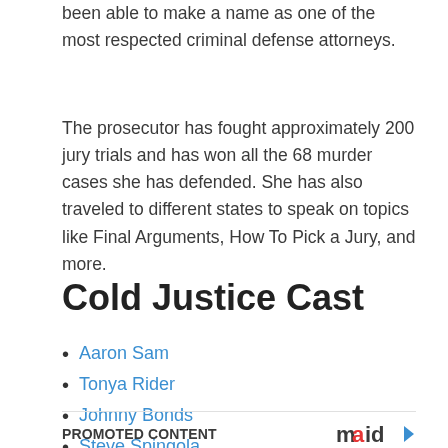been able to make a name as one of the most respected criminal defense attorneys.
The prosecutor has fought approximately 200 jury trials and has won all the 68 murder cases she has defended. She has also traveled to different states to speak on topics like Final Arguments, How To Pick a Jury, and more.
Cold Justice Cast
Aaron Sam
Tonya Rider
Johnny Bonds
Steve Spingola
Yolanda McClary
PROMOTED CONTENT